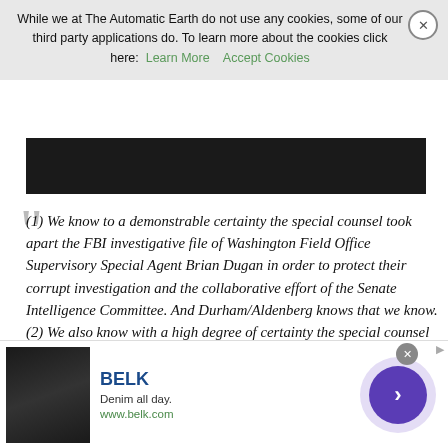While we at The Automatic Earth do not use any cookies, some of our third party applications do. To learn more about the cookies click here: Learn More   Accept Cookies
[Figure (photo): Black horizontal banner image from The Automatic Earth website]
(1) We know to a demonstrable certainty the special counsel took apart the FBI investigative file of Washington Field Office Supervisory Special Agent Brian Dugan in order to protect their corrupt investigation and the collaborative effort of the Senate Intelligence Committee. And Durham/Aldenberg knows that we know. (2) We also know with a high degree of certainty the special counsel created a missing Woods File for the Carter Page application when the IG started sniffing around and announced his intent to review the four FISA applications. And Durham/Aldenberg knows that we have strong, very strong, evidence pointing in that direction. (3) And now today we discover the same special counsel team destroyed their
[Figure (screenshot): BELK advertisement banner - Denim all day. www.belk.com with arrow button]